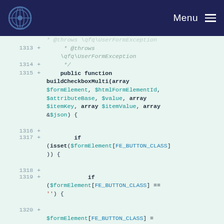Menu
[Figure (screenshot): Code diff viewer showing PHP code lines 1313-1320 with green background indicating added lines. Code shows a buildCheckboxMulti function definition with parameters, and isset/if conditionals checking FE_BUTTON_CLASS.]